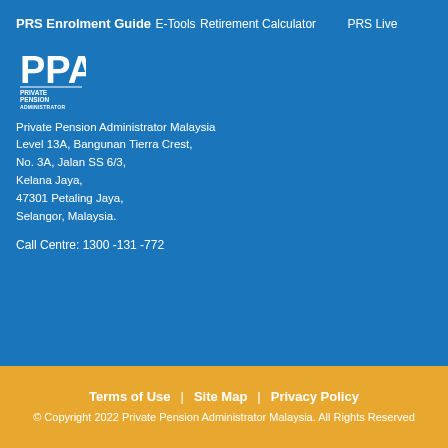PRS Enrolment Guide
E-Tools
Retirement Calculator    PRS Live
[Figure (logo): PPA Private Pension Administrator logo in white on blue background]
Private Pension Administrator Malaysia
Level 13A, Bangunan Tierra Crest,
No. 3A, Jalan SS 6/3,
Kelana Jaya,
47301 Petaling Jaya,
Selangor, Malaysia.
Call Centre: 1300 -131 -772
Terms of Use | Site Map | Privacy Policy
© Copyright 2022 Private Pension Administrator Malaysia. All Rights Reserved